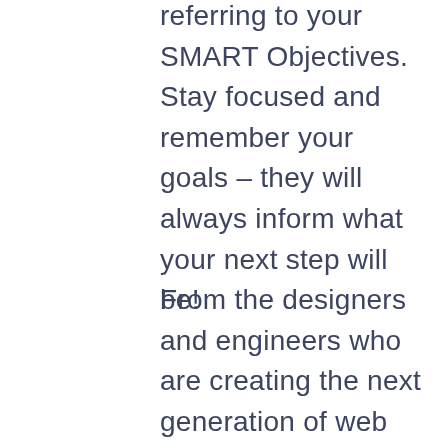referring to your SMART Objectives. Stay focused and remember your goals – they will always inform what your next step will be!
From the designers and engineers who are creating the next generation of web and mobile experiences, to anyone putting a website together for the first time. We provide elegant solutions that set new standards for online publishing.
As your budget progresses and evolves, continue referring to your